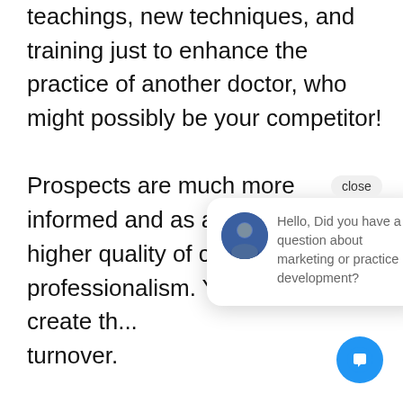teachings, new techniques, and training just to enhance the practice of another doctor, who might possibly be your competitor!

Prospects are much more informed and as a result, expect a higher quality of care and professionalism. You can't create th... turnover.

No Docto... to be held hostage by their staff, nor should they be. Our point here is that some team members are
[Figure (screenshot): Chat widget popup with close button, avatar of a person, and text: 'Hello, Did you have a question about marketing or practice development?' with a blue chat bubble button in the bottom right corner.]